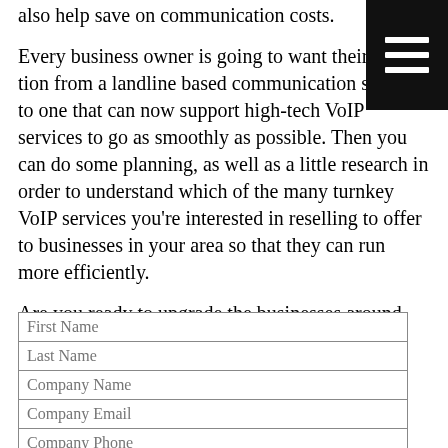also help save on communication costs.
Every business owner is going to want their transition from a landline based communication system to one that can now support high-tech VoIP services to go as smoothly as possible. Then you can do some planning, as well as a little research in order to understand which of the many turnkey VoIP services you’re interested in reselling to offer to businesses in your area so that they can run more efficiently.
Are you ready to upgrade the businesses around you to turnkey VoIP services and make some money? Contact V1 VoIP today!
First Name
Last Name
Company Name
Company Email
Company Phone
By checking this box, I agree to V1 VoIP’s Terms and Conditions